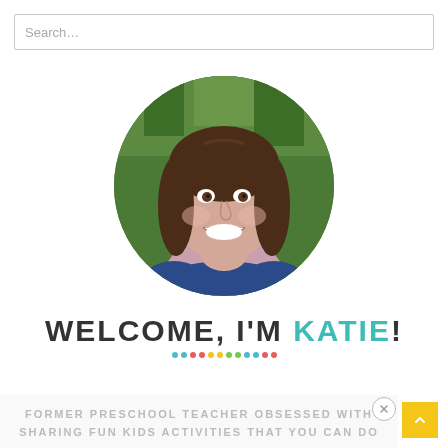Search...
[Figure (photo): Circular portrait photo of a smiling woman with brown hair, wearing a blue top, with a green background]
WELCOME, I'M KATIE!
FORMER PRESCHOOL TEACHER OBSESSED WITH SHARING FUN KIDS ACTIVITIES THAT YOU CAN DO